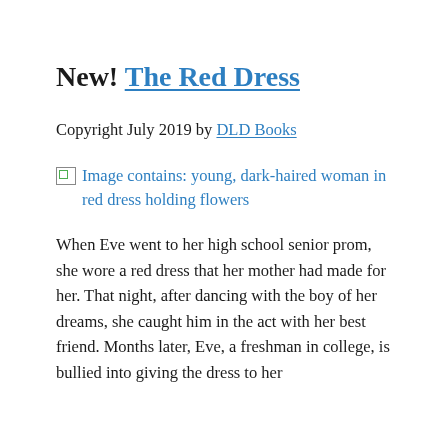New! The Red Dress
Copyright July 2019 by DLD Books
[Figure (photo): Image contains: young, dark-haired woman in red dress holding flowers]
When Eve went to her high school senior prom, she wore a red dress that her mother had made for her. That night, after dancing with the boy of her dreams, she caught him in the act with her best friend. Months later, Eve, a freshman in college, is bullied into giving the dress to her